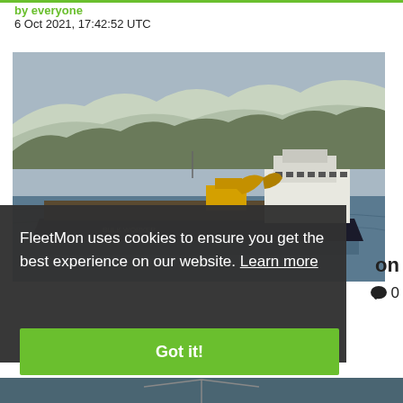6 Oct 2021, 17:42:52 UTC
[Figure (photo): A cargo/dredger vessel named on its hull, carrying heavy equipment including a yellow excavator, sailing on calm water with a snow-covered forested hillside in the background.]
FleetMon uses cookies to ensure you get the best experience on our website. Learn more
[Figure (other): Green 'Got it!' cookie consent button]
[Figure (other): Partial bottom image of water scene]